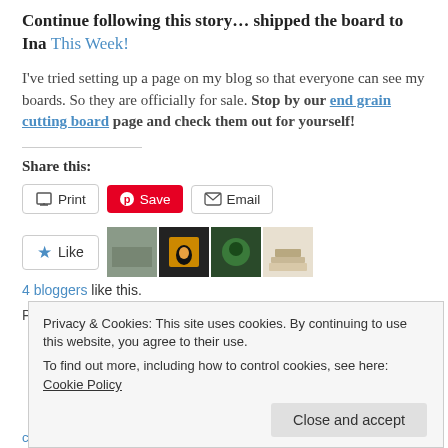Continue following this story… shipped the board to Ina This Week!
I've tried setting up a page on my blog so that everyone can see my boards. So they are officially for sale. Stop by our end grain cutting board page and check them out for yourself!
Share this:
[Figure (other): Share buttons: Print, Save (Pinterest), Email]
[Figure (other): Like button with star icon and four blogger thumbnail images]
4 bloggers like this.
Posted in Cutting Boards, Woodwork | Tagged antique cutting boards, antique rolling pins, best ever cutting board, blog post...
Privacy & Cookies: This site uses cookies. By continuing to use this website, you agree to their use. To find out more, including how to control cookies, see here: Cookie Policy
Close and accept
cutting board designs, Cutting Board for Chopping Chocolate,